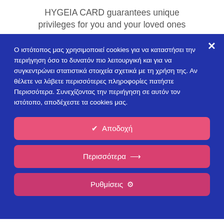HYGEIA CARD guarantees unique privileges for you and your loved ones
Ο ιστότοπος μας χρησιμοποιεί cookies για να καταστήσει την περιήγηση όσο το δυνατόν πιο λειτουργική και για να συγκεντρώνει στατιστικά στοιχεία σχετικά με τη χρήση της. Αν θέλετε να λάβετε περισσότερες πληροφορίες πατήστε Περισσότερα. Συνεχίζοντας την περιήγηση σε αυτόν τον ιστότοπο, αποδέχεστε τα cookies μας.
✔ Αποδοχή
Περισσότερα ⟶
Ρυθμίσεις ⚙